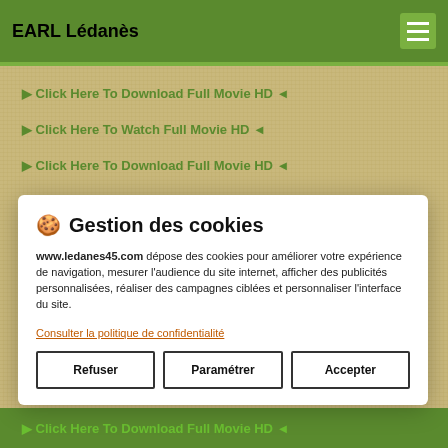EARL Lédanès
▶ Click Here To Download Full Movie HD ◄
▶ Click Here To Watch Full Movie HD ◄
▶ Click Here To Download Full Movie HD ◄
🍪 Gestion des cookies
www.ledanes45.com dépose des cookies pour améliorer votre expérience de navigation, mesurer l'audience du site internet, afficher des publicités personnalisées, réaliser des campagnes ciblées et personnaliser l'interface du site.
Consulter la politique de confidentialité
Refuser
Paramétrer
Accepter
▶ Click Here To Download Full Movie HD ◄